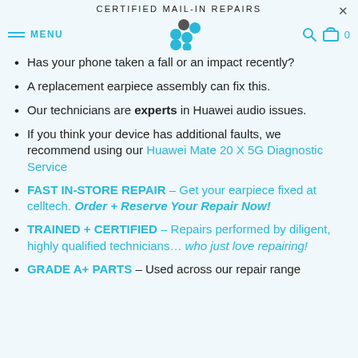CERTIFIED MAIL-IN REPAIRS
Has your phone taken a fall or an impact recently?
A replacement earpiece assembly can fix this.
Our technicians are experts in Huawei audio issues.
If you think your device has additional faults, we recommend using our Huawei Mate 20 X 5G Diagnostic Service
FAST IN-STORE REPAIR – Get your earpiece fixed at celltech. Order + Reserve Your Repair Now!
TRAINED + CERTIFIED – Repairs performed by diligent, highly qualified technicians… who just love repairing!
GRADE A+ PARTS – Used across our repair range